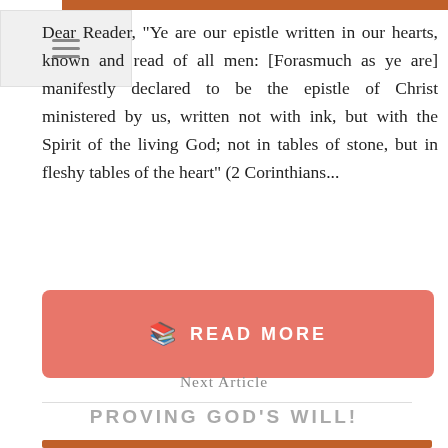[Figure (photo): Decorative brown/wood-tone image strip at top]
[Figure (other): Navigation menu hamburger icon box in top-left corner]
Dear Reader, "Ye are our epistle written in our hearts, known and read of all men: [Forasmuch as ye are] manifestly declared to be the epistle of Christ ministered by us, written not with ink, but with the Spirit of the living God; not in tables of stone, but in fleshy tables of the heart" (2 Corinthians...
[Figure (other): Red/coral colored READ MORE button with book icon]
Next Article
PROVING GOD'S WILL!
[Figure (photo): Decorative image strip at bottom of page]